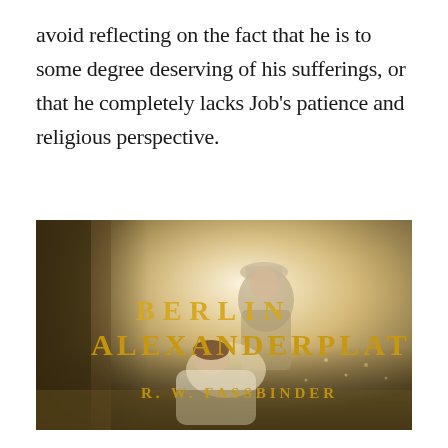avoid reflecting on the fact that he is to some degree deserving of his sufferings, or that he completely lacks Job's patience and religious perspective.
[Figure (photo): Movie title card image from 'Berlin Alexanderplatz' directed by R. W. Fassbinder. Shows two figures — an older man wearing a hat leaning against a tree, and a young woman resting against him — in a soft, sunlit outdoor setting. The title 'BERLIN ALEXANDERPLATZ' is overlaid in large golden yellow spaced serif letters, with 'R. W. FASSBINDER' below in smaller golden text.]